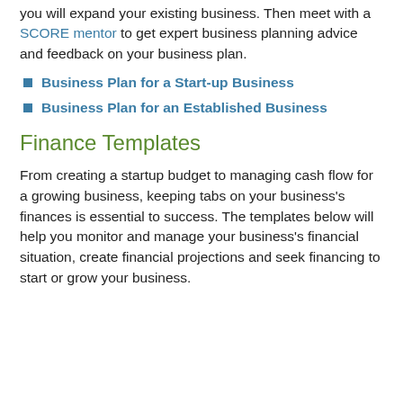you will expand your existing business. Then meet with a SCORE mentor to get expert business planning advice and feedback on your business plan.
Business Plan for a Start-up Business
Business Plan for an Established Business
Finance Templates
From creating a startup budget to managing cash flow for a growing business, keeping tabs on your business's finances is essential to success. The templates below will help you monitor and manage your business's financial situation, create financial projections and seek financing to start or grow your business.